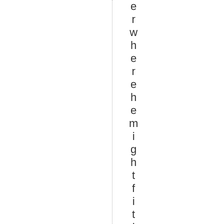er where he might fitting. At 5-f